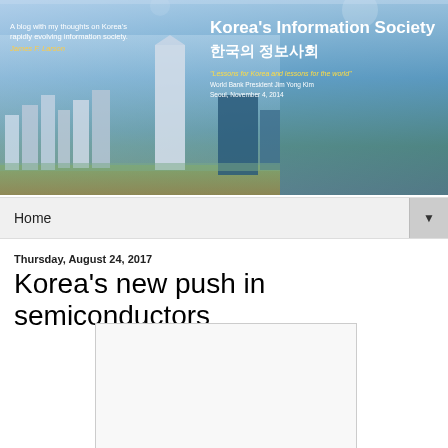[Figure (photo): Banner image showing Korea's Information Society blog header with Seoul city skyline featuring tall skyscrapers against a blue sky, with blog title text overlay]
Korea's Information Society
한국의 정보사회
"Lessons for Korea and lessons for the world"
World Bank President Jim Yong Kim
Seoul, November 4, 2014
A blog with my thoughts on Korea's rapidly evolving information society.
James F. Larson
Home ▼
Thursday, August 24, 2017
Korea's new push in semiconductors
[Figure (photo): Embedded image placeholder in article body (white/light gray rectangle)]